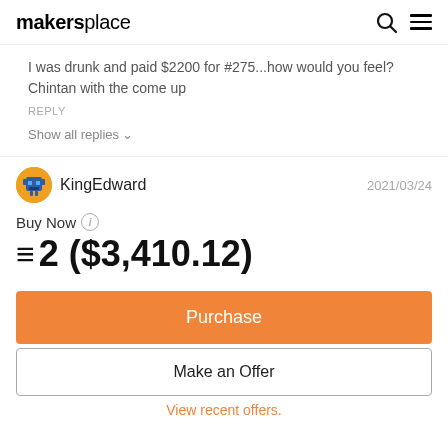makersplace
I was drunk and paid $2200 for #275...how would you feel? Chintan with the come up
REPLY
Show all replies
KingEdward  2021/03/24
Buy Now
≡ 2 ($3,410.12)
Purchase
Make an Offer
View recent offers.